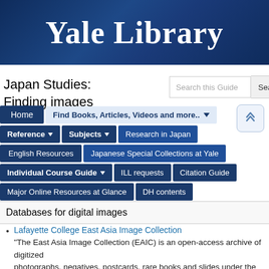[Figure (screenshot): Yale Library website header banner with dark blue background and white serif text reading 'Yale Library']
Japan Studies: Finding images
[Figure (screenshot): Navigation menu with Home, Find Books Articles Videos and more, Reference, Subjects, Research in Japan, English Resources, Japanese Special Collections at Yale, Individual Course Guide, ILL requests, Citation Guide, Major Online Resources at Glance, DH contents buttons]
Databases for digital images
Lafayette College East Asia Image Collection — "The East Asia Image Collection (EAIC) is an open-access archive of digitized photographs, negatives, postcards, rare books and slides under the general